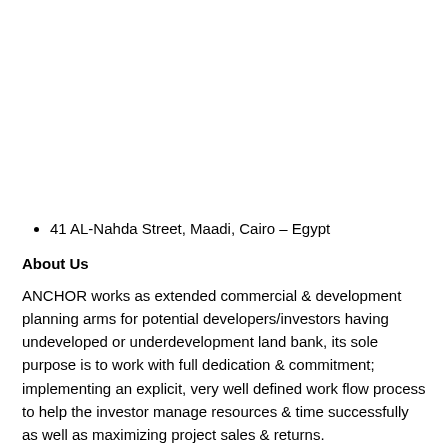41 AL-Nahda Street, Maadi, Cairo – Egypt
About Us
ANCHOR works as extended commercial & development planning arms for potential developers/investors having undeveloped or underdevelopment land bank, its sole purpose is to work with full dedication & commitment; implementing an explicit, very well defined work flow process to help the investor manage resources & time successfully as well as maximizing project sales & returns.